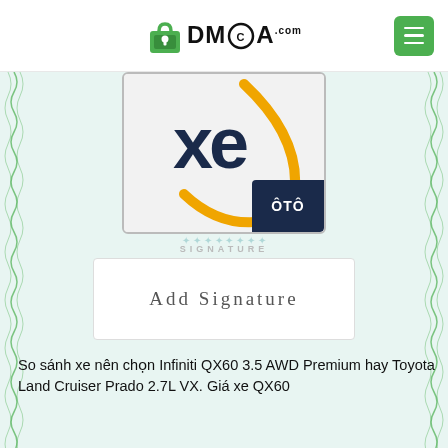[Figure (logo): DMCA.com logo with green padlock icon and hamburger menu button]
[Figure (illustration): Certificate area showing XC logo card with dark navy background and gold arc, ÔTÔ badge in bottom right corner, green wavy borders on left and right]
SIGNATURE
Add Signature
So sánh xe nên chọn Infiniti QX60 3.5 AWD Premium hay Toyota Land Cruiser Prado 2.7L VX. Giá xe QX60